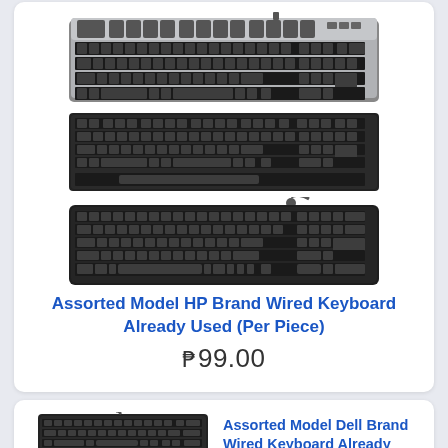[Figure (photo): Three HP brand wired keyboards stacked vertically. Top keyboard is silver/black HP multimedia keyboard, middle is all-black HP keyboard, bottom is all-black HP keyboard with numpad.]
Assorted Model HP Brand Wired Keyboard Already Used (Per Piece)
₱99.00
[Figure (photo): Two Dell brand wired keyboards stacked, black color.]
Assorted Model Dell Brand Wired Keyboard Already Used (Per Piece)